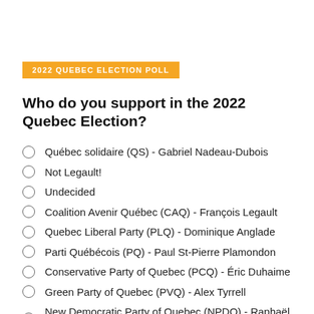2022 QUEBEC ELECTION POLL
Who do you support in the 2022 Quebec Election?
Québec solidaire (QS) - Gabriel Nadeau-Dubois
Not Legault!
Undecided
Coalition Avenir Québec (CAQ) - François Legault
Quebec Liberal Party (PLQ) - Dominique Anglade
Parti Québécois (PQ) - Paul St-Pierre Plamondon
Conservative Party of Quebec (PCQ) - Éric Duhaime
Green Party of Quebec (PVQ) - Alex Tyrrell
New Democratic Party of Quebec (NPDQ) - Raphaël Fortin
Bloc Montréal - Balarama Holness